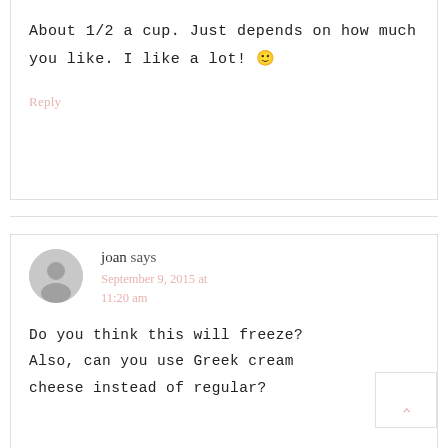About 1/2 a cup. Just depends on how much you like. I like a lot! 🙂
Reply
joan says
September 9, 2015 at 11:20 am
Do you think this will freeze? Also, can you use Greek cream cheese instead of regular?